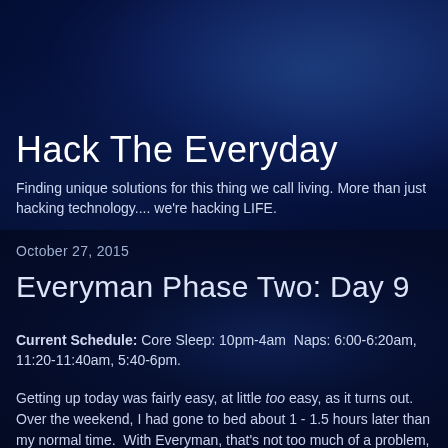Hack The Everyday
Finding unique solutions for this thing we call living. More than just hacking technology.... we're hacking LIFE.
October 27, 2015
Everyman Phase Two: Day 9
Current Schedule: Core Sleep: 10pm-4am  Naps: 6:00-6:20am, 11:20-11:40am, 5:40-6pm.
Getting up today was fairly easy, at little too easy, as it turns out.  Over the weekend, I had gone to bed about 1 - 1.5 hours later than my normal time.  With Everyman, that's not too much of a problem, as you can shift your times a little